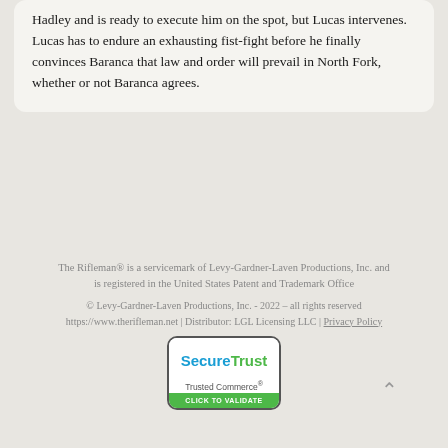Hadley and is ready to execute him on the spot, but Lucas intervenes. Lucas has to endure an exhausting fist-fight before he finally convinces Baranca that law and order will prevail in North Fork, whether or not Baranca agrees.
The Rifleman® is a servicemark of Levy-Gardner-Laven Productions, Inc. and is registered in the United States Patent and Trademark Office
© Levy-Gardner-Laven Productions, Inc. - 2022 – all rights reserved https://www.therifleman.net | Distributor: LGL Licensing LLC | Privacy Policy
[Figure (logo): SecureTrust Trusted Commerce CLICK TO VALIDATE badge]